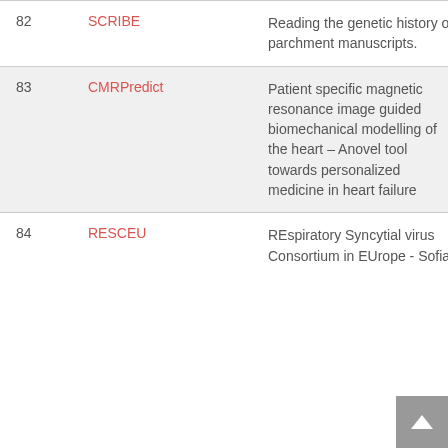| # | Name | Description | Year |
| --- | --- | --- | --- |
| 82 | SCRIBE | Reading the genetic history of parchment manuscripts. | 20 |
| 83 | CMRPredict | Patient specific magnetic resonance image guided biomechanical modelling of the heart – Anovel tool towards personalized medicine in heart failure | 20 |
| 84 | RESCEU | REspiratory Syncytial virus Consortium in EUrope - Sofia | 20 |